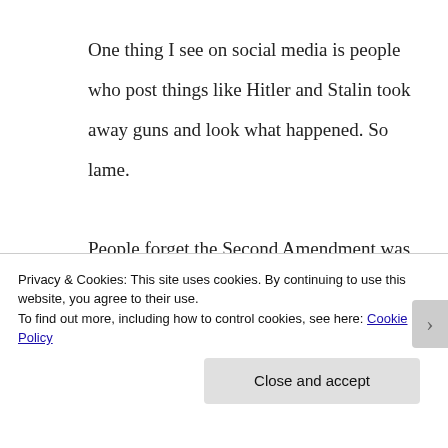One thing I see on social media is people who post things like Hitler and Stalin took away guns and look what happened. So lame.

People forget the Second Amendment was written in a totally different time. We didn't have an Army and we didn't have grocery stores. To survive you had to hunt to feed your family.
Privacy & Cookies: This site uses cookies. By continuing to use this website, you agree to their use.
To find out more, including how to control cookies, see here: Cookie Policy
Close and accept